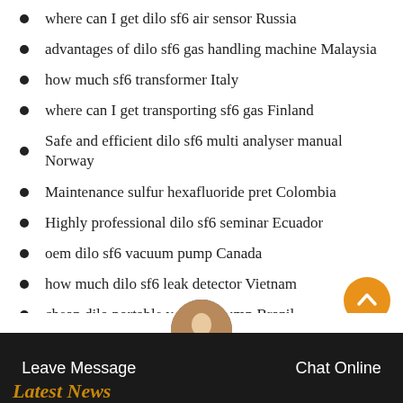where can I get dilo sf6 air sensor Russia
advantages of dilo sf6 gas handling machine Malaysia
how much sf6 transformer Italy
where can I get transporting sf6 gas Finland
Safe and efficient dilo sf6 multi analyser manual Norway
Maintenance sulfur hexafluoride pret Colombia
Highly professional dilo sf6 seminar Ecuador
oem dilo sf6 vacuum pump Canada
how much dilo sf6 leak detector Vietnam
cheap dilo portable vacuum pump Brazil
dilo sf6 leak detector price United Kingdom
Leave Message   Chat Online   Latest News